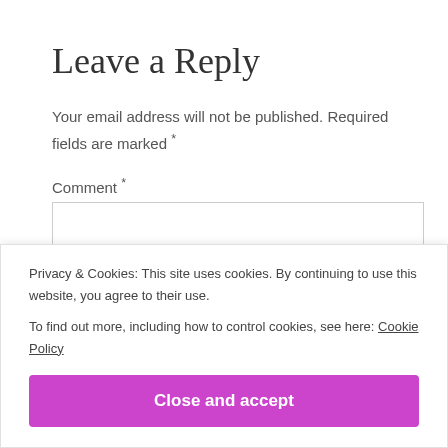Leave a Reply
Your email address will not be published. Required fields are marked *
Comment *
[Figure (screenshot): Empty comment text area input box]
Privacy & Cookies: This site uses cookies. By continuing to use this website, you agree to their use. To find out more, including how to control cookies, see here: Cookie Policy
Close and accept